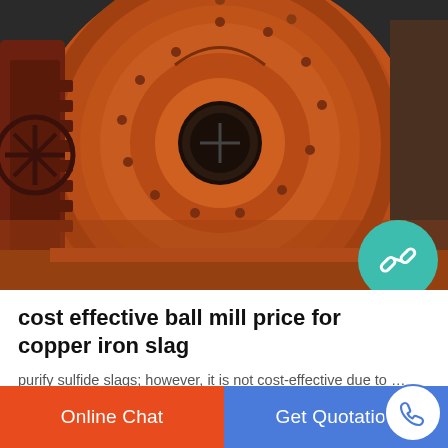[Figure (photo): Large industrial orange ball mill machine, front view showing circular drum with concentric rings and bolts, dark gear mechanism visible on left side, photographed in an industrial facility]
cost effective ball mill price for copper iron slag
purify sulfide slags; however, it is not cost-effective due to ... and global price of copper, the recovery of copper from the ... suitable time period by a laboratory ball mill at 50 % solid.